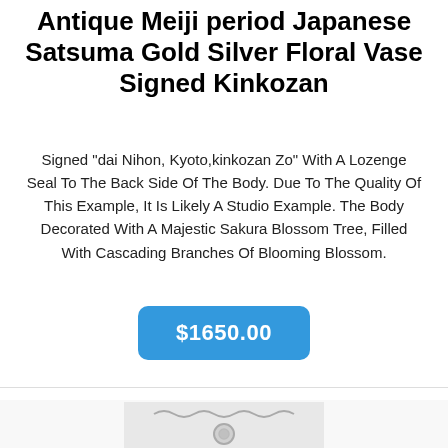Antique Meiji period Japanese Satsuma Gold Silver Floral Vase Signed Kinkozan
Signed "dai Nihon, Kyoto,kinkozan Zo" With A Lozenge Seal To The Back Side Of The Body. Due To The Quality Of This Example, It Is Likely A Studio Example. The Body Decorated With A Majestic Sakura Blossom Tree, Filled With Cascading Branches Of Blooming Blossom.
$1650.00
[Figure (photo): Partial photo of a necklace with a chain and pendant, shown at the bottom of the page, partially cut off.]